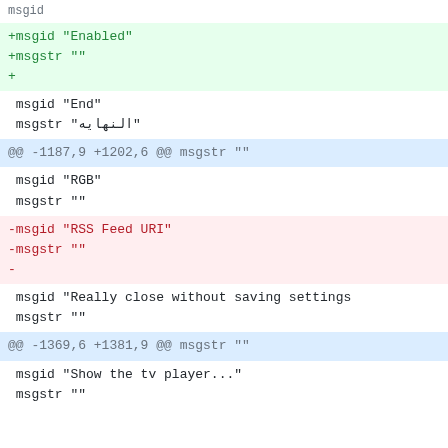msgid
+msgid "Enabled"
+msgstr ""
+
msgid "End"
 msgstr "النهايه"
@@ -1187,9 +1202,6 @@ msgstr ""
msgid "RGB"
 msgstr ""
-msgid "RSS Feed URI"
-msgstr ""
-
msgid "Really close without saving settings
 msgstr ""
@@ -1369,6 +1381,9 @@ msgstr ""
msgid "Show the tv player..."
 msgstr ""